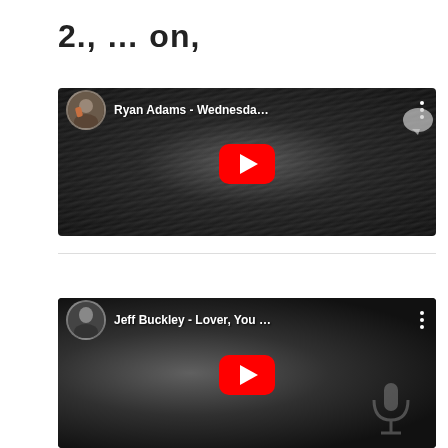2., … on,
[Figure (screenshot): YouTube video embed thumbnail for Ryan Adams - Wednesda... with play button, avatar, and menu icon]
[Figure (screenshot): YouTube video embed thumbnail for Jeff Buckley - Lover, You ... with play button, avatar, and menu icon]